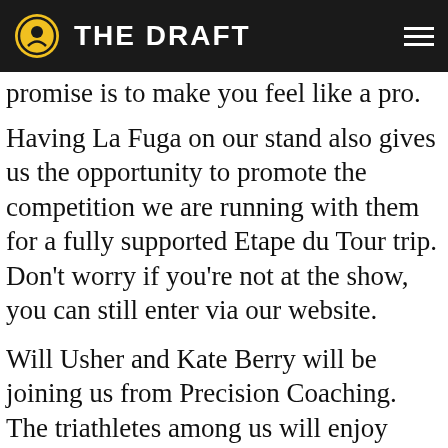THE DRAFT
promise is to make you feel like a pro.
Having La Fuga on our stand also gives us the opportunity to promote the competition we are running with them for a fully supported Etape du Tour trip. Don't worry if you're not at the show, you can still enter via our website.
Will Usher and Kate Berry will be joining us from Precision Coaching. The triathletes among us will enjoy chatting to these two